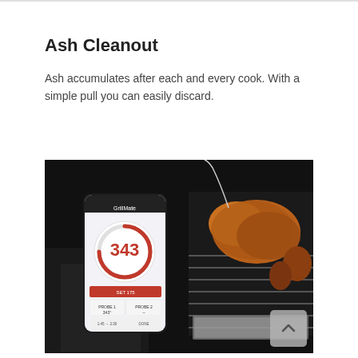Ash Cleanout
Ash accumulates after each and every cook. With a simple pull you can easily discard.
[Figure (photo): A hand holding a smartphone displaying a temperature reading of 343 degrees on a BBQ/smoker app, with a whole roasted chicken visible on the grill grates in the background inside a dark smoker grill.]